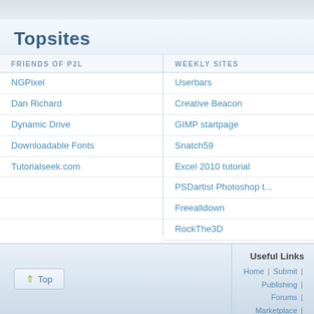Topsites
FRIENDS OF P2L
NGPixel
Dan Richard
Dynamic Drive
Downloadable Fonts
Tutorialseek.com
WEEKLY SITES
Userbars
Creative Beacon
GIMP startpage
Snatch59
Excel 2010 tutorial
PSDartist Photoshop t...
Freealldown
RockThe3D
Free Wallpaper Point
PSDartist Photoshop T...
Useful Links
Home | Submit | Publishing | Forums | Marketplace | Advert Topsites | RSS Feeds | Sitemap | Contact Us | Priva P2L Facebook | P2L Twitter